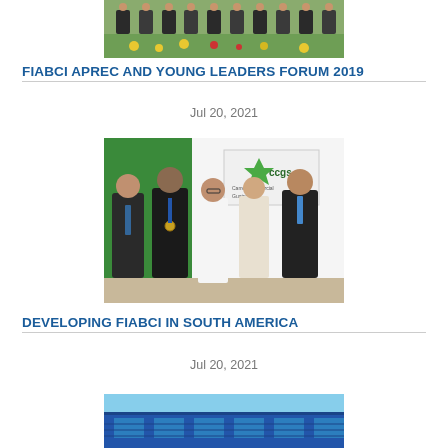[Figure (photo): Group photo of people standing outdoors with flowers/garden in background, partially visible at top of page]
FIABCI APREC AND YOUNG LEADERS FORUM 2019
Jul 20, 2021
[Figure (photo): Five people standing together indoors in front of a green backdrop with CCGS logo; four men and one woman in business attire]
DEVELOPING FIABCI IN SOUTH AMERICA
Jul 20, 2021
[Figure (photo): Partial photo visible at bottom of page, appears to show a building or architectural structure with blue tones]